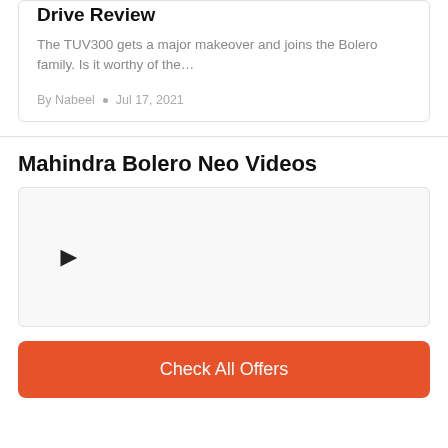Mahindra Bolero Neo First Drive Review
The TUV300 gets a major makeover and joins the Bolero family. Is it worthy of the…
By Nabeel • Jul 17, 2021
Mahindra Bolero Neo Videos
[Figure (other): Video thumbnail placeholder with a play button triangle icon]
Check All Offers